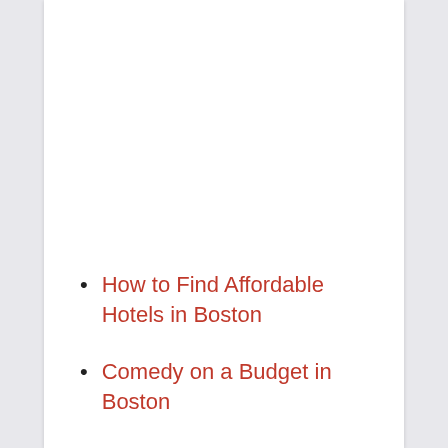How to Find Affordable Hotels in Boston
Comedy on a Budget in Boston